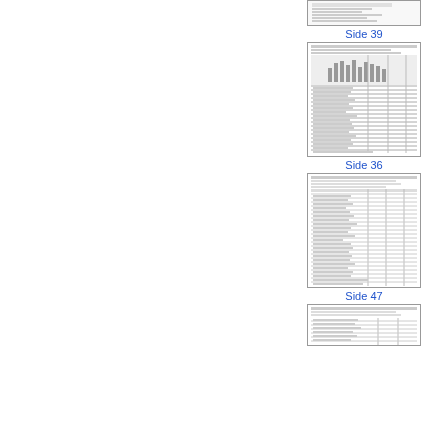[Figure (screenshot): Partial thumbnail of a document page at top of right column]
Side 39
[Figure (screenshot): Thumbnail of statistical document page Side 39 showing a table with bar chart header]
Side 36
[Figure (screenshot): Thumbnail of statistical document page Side 36 showing a detailed table]
Side 47
[Figure (screenshot): Partial thumbnail of a document page at bottom of right column, Side 47]